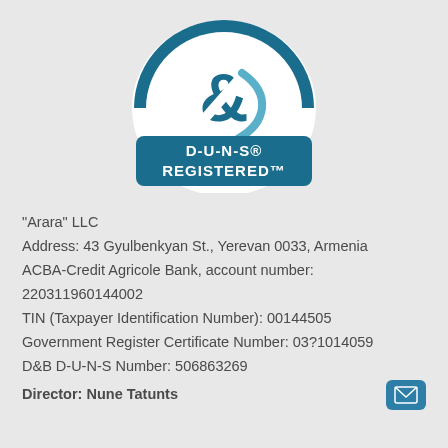[Figure (logo): Dun & Bradstreet D-U-N-S Registered logo: semicircular badge with 'DUN & BRADSTREET' text around the top arc, ampersand symbol in center, and a dark teal rectangular banner reading 'D-U-N-S® REGISTERED™']
"Arara" LLC
Address: 43 Gyulbenkyan St., Yerevan 0033, Armenia
ACBA-Credit Agricole Bank, account number: 220311960144002
TIN (Taxpayer Identification Number): 00144505
Government Register Certificate Number: 03?1014059
D&B D-U-N-S Number: 506863269
Director: Nune Tatunts